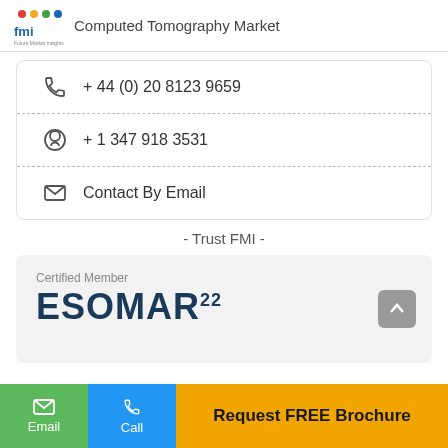Computed Tomography Market
+ 44 (0) 20 8123 9659
+ 1 347 918 3531
Contact By Email
- Trust FMI -
[Figure (logo): ESOMAR Certified Member logo with text 'Certified Member' above 'ESOMAR22']
Request FREE Brochure